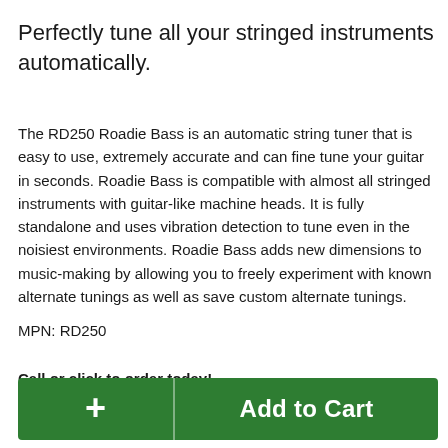Perfectly tune all your stringed instruments automatically.
The RD250 Roadie Bass is an automatic string tuner that is easy to use, extremely accurate and can fine tune your guitar in seconds. Roadie Bass is compatible with almost all stringed instruments with guitar-like machine heads. It is fully standalone and uses vibration detection to tune even in the noisiest environments. Roadie Bass adds new dimensions to music-making by allowing you to freely experiment with known alternate tunings as well as save custom alternate tunings.
MPN: RD250
Call or click to order today!
[Figure (other): Green 'Add to Cart' button with a plus icon on the left side]